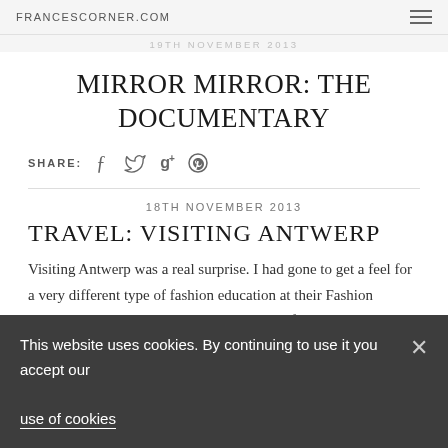FRANCESCORNER.COM
19TH NOVEMBER 2013
MIRROR MIRROR: THE DOCUMENTARY
SHARE: (social icons: Facebook, Twitter, Google+, Pinterest)
18TH NOVEMBER 2013
TRAVEL: VISITING ANTWERP
Visiting Antwerp was a real surprise. I had gone to get a feel for a very different type of fashion education at their Fashion Academy and to discuss with the Director of the Fashion Museum.
This website uses cookies. By continuing to use it you accept our use of cookies